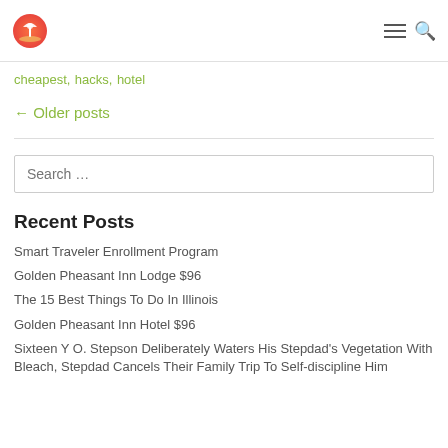[Logo] [Hamburger menu] [Search icon]
cheapest, hacks, hotel
← Older posts
Search …
Recent Posts
Smart Traveler Enrollment Program
Golden Pheasant Inn Lodge $96
The 15 Best Things To Do In Illinois
Golden Pheasant Inn Hotel $96
Sixteen Y O. Stepson Deliberately Waters His Stepdad's Vegetation With Bleach, Stepdad Cancels Their Family Trip To Self-discipline Him